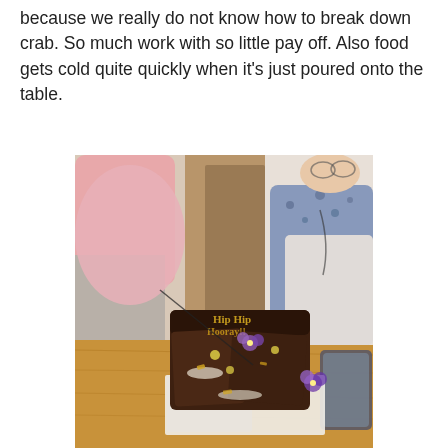because we really do not know how to break down crab. So much work with so little pay off. Also food gets cold quite quickly when it's just poured onto the table.
[Figure (photo): A photo of a person sitting at a wooden table with a chocolate cake decorated with purple and yellow flowers and gold lettering toppers. Another person in a pink top is visible on the left. A smartphone is visible on the right side of the table.]